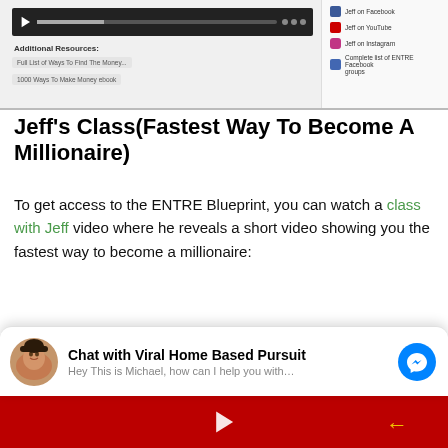[Figure (screenshot): Screenshot of a webpage with a video player bar on the left showing a dark video bar with play button and progress, and 'Additional Resources' section below with two links. On the right are social media links: Jeff on Facebook, Jeff on YouTube, Jeff on Instagram, Complete list of ENTRE Facebook groups.]
Jeff's Class(Fastest Way To Become A Millionaire)
To get access to the ENTRE Blueprint, you can watch a class with Jeff video where he reveals a short video showing you the fastest way to become a millionaire:
[Figure (screenshot): Partial screenshot of promotional content: 'Watch The Short Video Below To Learn The Fastest Way To Become A Millionaire' and partial text 'Plus Get $673 Worth Of Free Bonuses']
[Figure (screenshot): Chat widget: 'Chat with Viral Home Based Pursuit' with avatar of Michael, message 'Hey This is Michael, how can I help you with...' and blue Messenger icon]
[Figure (screenshot): Bottom portion showing a red video player area with a play button and yellow arrow]